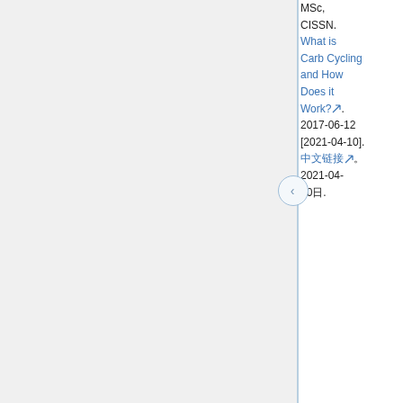MSc, CISSN. What is Carb Cycling and How Does it Work?. 2017-06-12 [2021-04-10]. (Chinese link) 2021-04-10.
(search box placeholder - Chinese text)
Last edited 2022年6月23日 (四) 15:51. Content available under CC-相同方式分享 3.0 unless otherwise noted. Wikipedia® is a registered trademark of Wikimedia Foundation, Inc., a non-profit 501(c)(3) organization.